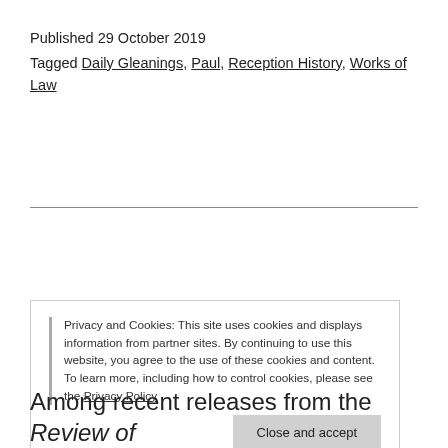Published 29 October 2019
Tagged Daily Gleanings, Paul, Reception History, Works of Law
Privacy and Cookies: This site uses cookies and displays information from partner sites. By continuing to use this website, you agree to the use of these cookies and content. To learn more, including how to control cookies, please see the Privacy Policy
Close and accept
Among recent releases from the Review of